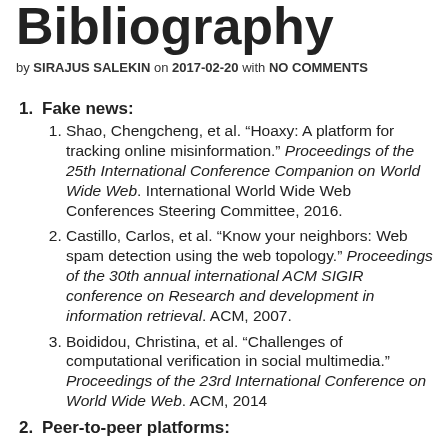Bibliography
by SIRAJUS SALEKIN on 2017-02-20 with NO COMMENTS
Fake news:
Shao, Chengcheng, et al. “Hoaxy: A platform for tracking online misinformation.” Proceedings of the 25th International Conference Companion on World Wide Web. International World Wide Web Conferences Steering Committee, 2016.
Castillo, Carlos, et al. “Know your neighbors: Web spam detection using the web topology.” Proceedings of the 30th annual international ACM SIGIR conference on Research and development in information retrieval. ACM, 2007.
Boididou, Christina, et al. “Challenges of computational verification in social multimedia.” Proceedings of the 23rd International Conference on World Wide Web. ACM, 2014
Peer-to-peer platforms: